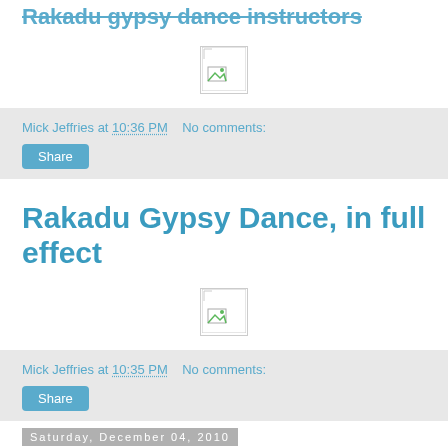Rakadu gypsy dance instructors
[Figure (photo): Broken/missing image placeholder]
Mick Jeffries at 10:36 PM   No comments:
Share
Rakadu Gypsy Dance, in full effect
[Figure (photo): Broken/missing image placeholder]
Mick Jeffries at 10:35 PM   No comments:
Share
Saturday, December 04, 2010
Alex de Grassi talks Japanese film